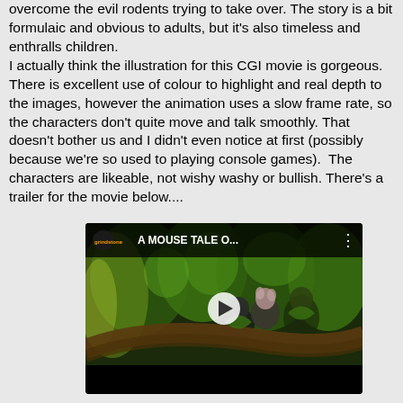overcome the evil rodents trying to take over. The story is a bit formulaic and obvious to adults, but it's also timeless and enthralls children.
I actually think the illustration for this CGI movie is gorgeous. There is excellent use of colour to highlight and real depth to the images, however the animation uses a slow frame rate, so the characters don't quite move and talk smoothly. That doesn't bother us and I didn't even notice at first (possibly because we're so used to playing console games).  The characters are likeable, not wishy washy or bullish. There's a trailer for the movie below....
[Figure (screenshot): A YouTube video thumbnail for 'A MOUSE TALE O...' from the grindstone channel, showing animated CGI characters with green foliage in the background. The video has a play button in the center and a black bar at the bottom.]